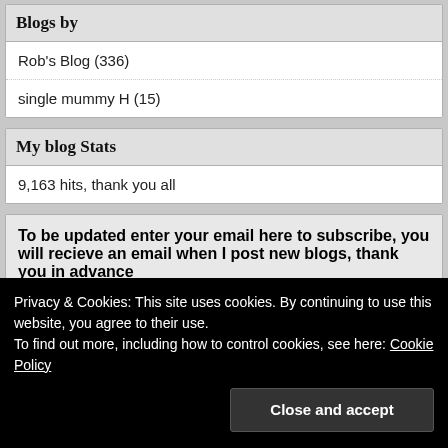Blogs by
Rob's Blog (336)
single mummy H (15)
My blog Stats
9,163 hits, thank you all
To be updated enter your email here to subscribe, you will recieve an email when I post new blogs, thank you in advance
Privacy & Cookies: This site uses cookies. By continuing to use this website, you agree to their use.
To find out more, including how to control cookies, see here: Cookie Policy
Close and accept